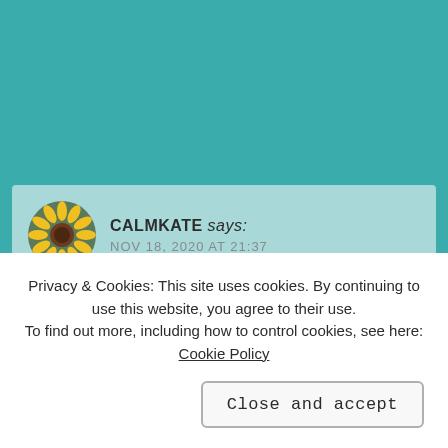Reply
CALMKATE says: NOV 18, 2020 AT 21:37
Privacy & Cookies: This site uses cookies. By continuing to use this website, you agree to their use. To find out more, including how to control cookies, see here: Cookie Policy
Close and accept